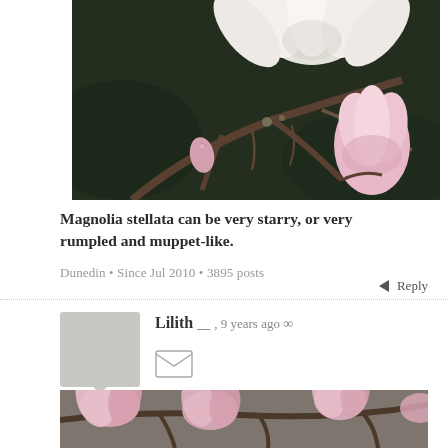[Figure (photo): Close-up photo of magnolia stellata flowers and buds on bare branches against dark green background. Large white star-shaped flower at top, pink bud on right side.]
Magnolia stellata can be very starry, or very rumpled and muppet-like.
Dunedin • Since Jul 2010 • 3895 posts
Reply
Lilith __, 9 years ago ∞
[Figure (photo): Close-up photo of magnolia blooms with pink petals on branches, partially visible at bottom of page.]